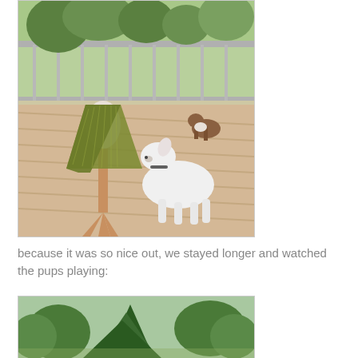[Figure (photo): A white dog sitting on a wooden deck next to a mannequin wearing a green lace knitted shawl. A smaller brown and white dog is visible in the background. Trees are visible behind the deck railing.]
because it was so nice out, we stayed longer and watched the pups playing:
[Figure (photo): Outdoor scene with green trees including a large conifer, partial view of a yard area.]